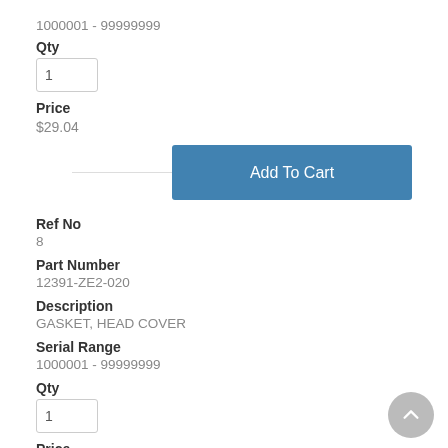1000001 - 99999999
Qty
Price
$29.04
Add To Cart
Ref No
8
Part Number
12391-ZE2-020
Description
GASKET, HEAD COVER
Serial Range
1000001 - 99999999
Qty
Price
$9.44